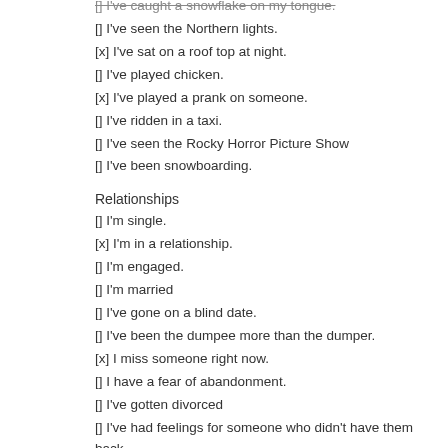[] I've caught a snowflake on my tongue.
[] I've seen the Northern lights.
[x] I've sat on a roof top at night.
[] I've played chicken.
[x] I've played a prank on someone.
[] I've ridden in a taxi.
[] I've seen the Rocky Horror Picture Show
[] I've been snowboarding.
Relationships
[] I'm single.
[x] I'm in a relationship.
[] I'm engaged.
[] I'm married
[] I've gone on a blind date.
[] I've been the dumpee more than the dumper.
[x] I miss someone right now.
[] I have a fear of abandonment.
[] I've gotten divorced
[] I've had feelings for someone who didn't have them back.
[] I've told someone I loved them when I didn't.
[] I've told someone I loved them when I didn't.